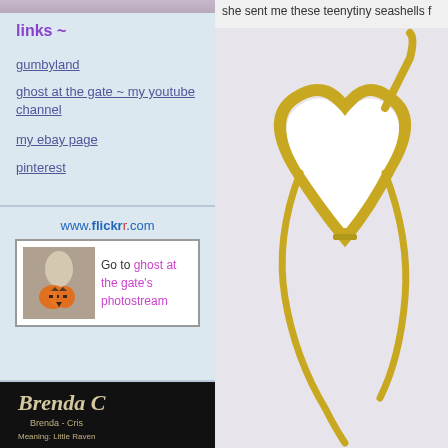[Figure (photo): Partial photo visible at top of left sidebar]
links ~
gumbyland
ghost at the gate ~ my youtube channel
my ebay page
pinterest
[Figure (screenshot): Flickr widget showing www.flickr.com URL and a link to ghost at the gate's photostream with thumbnail of figure holding pumpkin]
[Figure (photo): Dark background photo with cursive Brenda script text and text reading Brenda - Cris... Meaning: Little Raven]
she sent me these teenytiny seashells f
[Figure (photo): Close-up photo of a white heart-shaped dish with gold rim on light grey background]